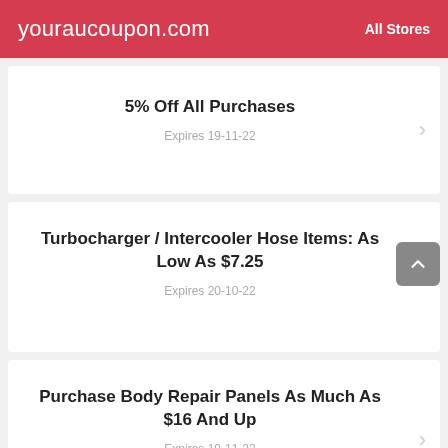youraucoupon.com   All Stores
5% Off All Purchases
Expires 19-11-22
Turbocharger / Intercooler Hose Items: As Low As $7.25
Expires 20-10-22
Purchase Body Repair Panels As Much As $16 And Up
Expires 19-11-22